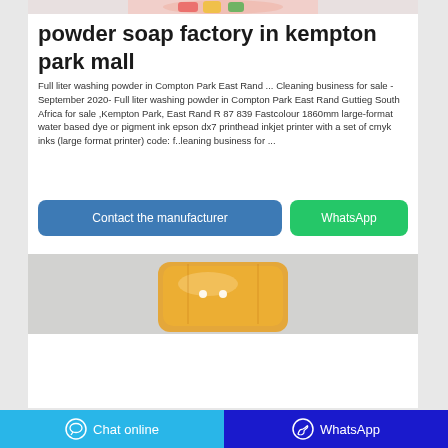[Figure (photo): Top portion of a colorful product image (partial, cropped at top)]
powder soap factory in kempton park mall
Full liter washing powder in Compton Park East Rand ... Cleaning business for sale - September 2020- Full liter washing powder in Compton Park East Rand Guttieg South Africa for sale ,Kempton Park, East Rand R 87 839 Fastcolour 1860mm large-format water based dye or pigment ink epson dx7 printhead inkjet printer with a set of cmyk inks (large format printer) code: f..leaning business for ...
[Figure (photo): Orange/yellow soap bar product image on grey background]
Chat online   WhatsApp